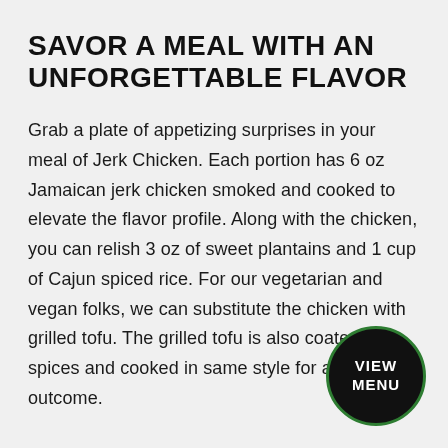SAVOR A MEAL WITH AN UNFORGETTABLE FLAVOR
Grab a plate of appetizing surprises in your meal of Jerk Chicken. Each portion has 6 oz Jamaican jerk chicken smoked and cooked to elevate the flavor profile. Along with the chicken, you can relish 3 oz of sweet plantains and 1 cup of Cajun spiced rice. For our vegetarian and vegan folks, we can substitute the chicken with grilled tofu. The grilled tofu is also coated with spices and cooked in same style for a delicious outcome.
[Figure (other): Dark circular button with white uppercase text reading VIEW MENU, bordered with a dark green ring]